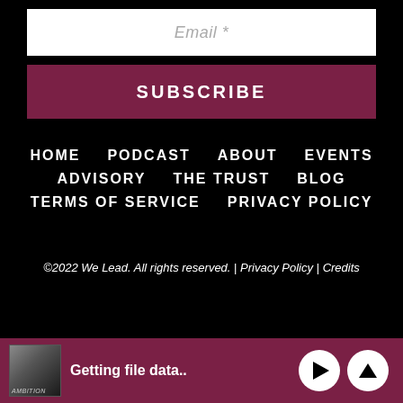Email *
SUBSCRIBE
HOME   PODCAST   ABOUT   EVENTS
ADVISORY   THE TRUST   BLOG
TERMS OF SERVICE   PRIVACY POLICY
©2022 We Lead. All rights reserved. | Privacy Policy | Credits
Getting file data..